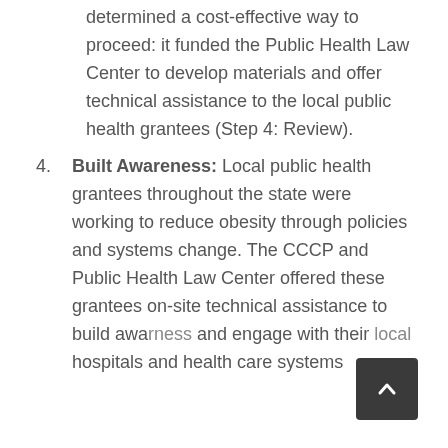determined a cost-effective way to proceed: it funded the Public Health Law Center to develop materials and offer technical assistance to the local public health grantees (Step 4: Review).
Built Awareness: Local public health grantees throughout the state were working to reduce obesity through policies and systems change. The CCCP and Public Health Law Center offered these grantees on-site technical assistance to build awareness and engage with their local hospitals and health care systems